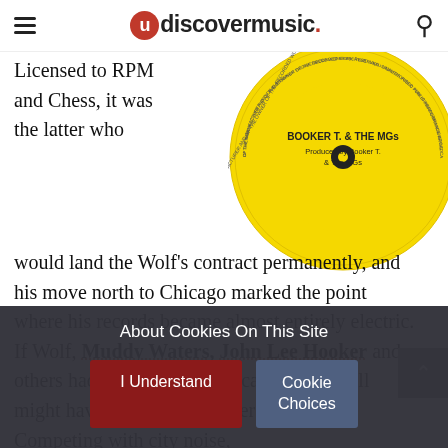udiscovermusic.
[Figure (photo): Yellow vinyl record label for Booker T. & The MGs, showing 'BOOKER T. & THE MGs Produced by Booker T. & The MGs' text on a bright yellow circular label with legal text around the rim.]
Licensed to RPM and Chess, it was the latter who would land the Wolf’s contract permanently, and his move north to Chicago marked the point where his records became almost entirely electric. If Wolf, Muddy Waters, John Lee Hooker and others had not moved to Chicago, rock’n’roll might have taken a very different path. Competing with city noise,
About Cookies On This Site
I Understand
Cookie Choices